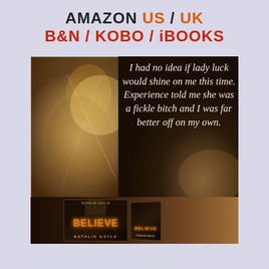AMAZON US / UK B&N / KOBO / iBOOKS
[Figure (illustration): Promotional book image collage: left panel shows a sepia-toned photo of a person, right dark panel shows a handwritten-style quote 'I had no idea if lady luck would shine on me this time. Experience told me she was a fickle bitch and I was far better off on my own.' Bottom shows book cover for BELIEVE by Natalie Gayle.]